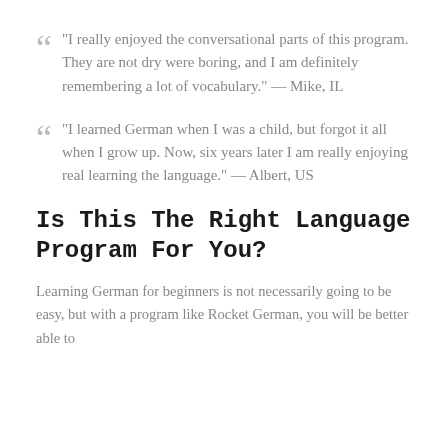“I really enjoyed the conversational parts of this program. They are not dry were boring, and I am definitely remembering a lot of vocabulary.” — Mike, IL
“I learned German when I was a child, but forgot it all when I grow up. Now, six years later I am really enjoying real learning the language.” — Albert, US
Is This The Right Language Program For You?
Learning German for beginners is not necessarily going to be easy, but with a program like Rocket German, you will be better able to